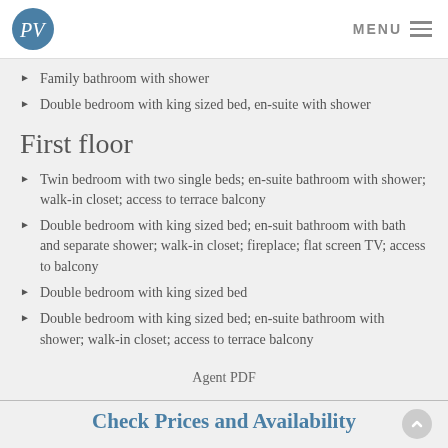PV | MENU
Family bathroom with shower
Double bedroom with king sized bed, en-suite with shower
First floor
Twin bedroom with two single beds; en-suite bathroom with shower; walk-in closet; access to terrace balcony
Double bedroom with king sized bed; en-suit bathroom with bath and separate shower; walk-in closet; fireplace; flat screen TV; access to balcony
Double bedroom with king sized bed
Double bedroom with king sized bed; en-suite bathroom with shower; walk-in closet; access to terrace balcony
Agent PDF
Check Prices and Availability